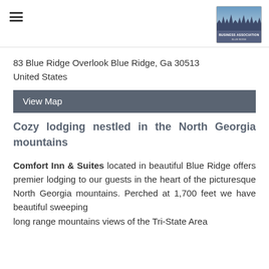[Figure (logo): Business Association logo with cityscape/mountains and text]
83 Blue Ridge Overlook Blue Ridge, Ga 30513
United States
View Map
Cozy lodging nestled in the North Georgia mountains
Comfort Inn & Suites located in beautiful Blue Ridge offers premier lodging to our guests in the heart of the picturesque North Georgia mountains. Perched at 1,700 feet we have beautiful sweeping long range mountains views of the Tri-State Area